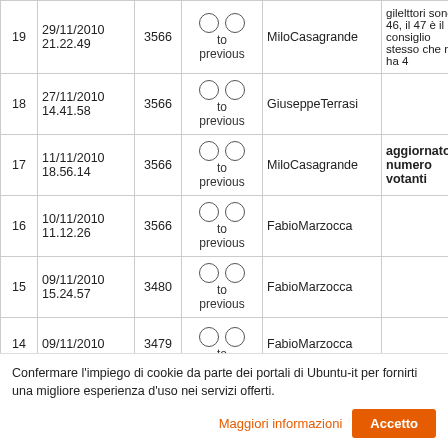| # | Date | ID | Radio | User | Note |  |
| --- | --- | --- | --- | --- | --- | --- |
| 19 | 29/11/2010 21.22.49 | 3566 | ○ ○ to previous | MiloCasagrande | gilelttori sono 46, il 47 è il consiglio stesso che ne ha 4 | view |
| 18 | 27/11/2010 14.41.58 | 3566 | ○ ○ to previous | GiuseppeTerrasi |  | view |
| 17 | 11/11/2010 18.56.14 | 3566 | ○ ○ to previous | MiloCasagrande | aggiornato numero votanti | view |
| 16 | 10/11/2010 11.12.26 | 3566 | ○ ○ to previous | FabioMarzocca |  | view |
| 15 | 09/11/2010 15.24.57 | 3480 | ○ ○ to previous | FabioMarzocca |  | view |
| 14 | 09/11/2010 | 3479 | ○ ○ to | FabioMarzocca |  | view |
Confermare l'impiego di cookie da parte dei portali di Ubuntu-it per fornirti una migliore esperienza d'uso nei servizi offerti.
Maggiori informazioni
Accetto